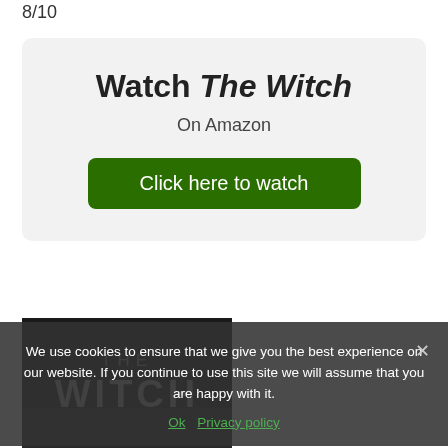8/10
Watch The Witch
On Amazon
Click here to watch
[Figure (photo): Movie poster for The Witch showing dark background with stylized text 'THE WITCH']
We use cookies to ensure that we give you the best experience on our website. If you continue to use this site we will assume that you are happy with it.
Ok  Privacy policy